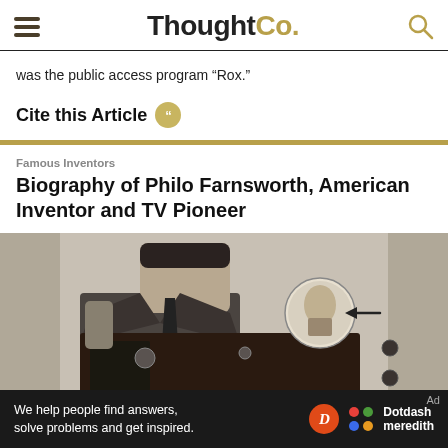ThoughtCo.
was the public access program "Rox."
Cite this Article
Famous Inventors
Biography of Philo Farnsworth, American Inventor and TV Pioneer
[Figure (photo): Black and white historical photograph of a man with early television equipment, showing a small circular portrait on the TV screen with an arrow pointing to it.]
We help people find answers, solve problems and get inspired. Dotdash meredith